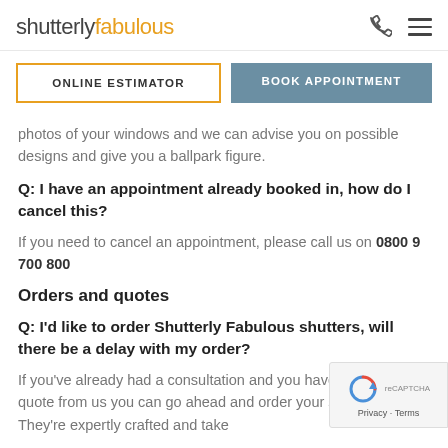shutterly fabulous
ONLINE ESTIMATOR | BOOK APPOINTMENT
photos of your windows and we can advise you on possible designs and give you a ballpark figure.
Q: I have an appointment already booked in, how do I cancel this?
If you need to cancel an appointment, please call us on 0800 9 700 800
Orders and quotes
Q: I'd like to order Shutterly Fabulous shutters, will there be a delay with my order?
If you've already had a consultation and you have received your quote from us you can go ahead and order your shutters! They're expertly crafted and take